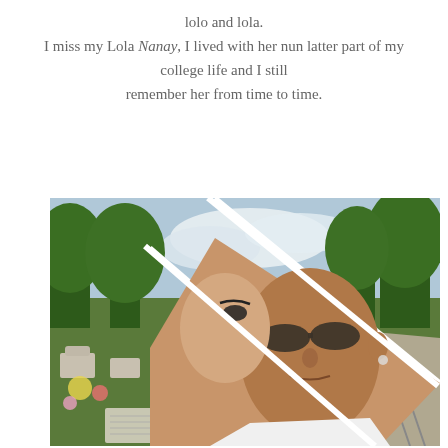lolo and lola.
I miss my Lola Nanay, I lived with her nun latter part of my college life and I still remember her from time to time.
[Figure (photo): A photo collage showing three overlapping images: a cemetery with green grass and gravestones, trees against a cloudy sky, and a selfie of two people (a woman and a man wearing sunglasses and a white shirt) taken at what appears to be a cemetery or park setting.]